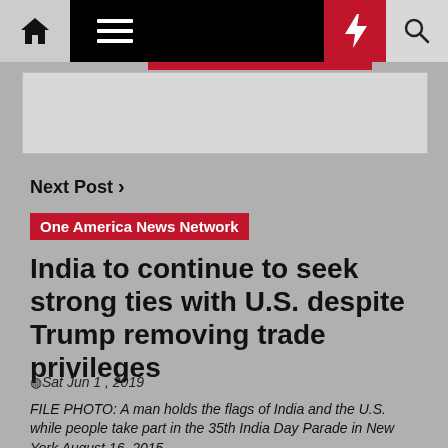One America News Network — navigation bar with home, menu, bolt, search
[Figure (screenshot): Gray advertisement/banner placeholder area]
Next Post >
One America News Network
India to continue to seek strong ties with U.S. despite Trump removing trade privileges
Sat Jun 1, 2019
FILE PHOTO: A man holds the flags of India and the U.S. while people take part in the 35th India Day Parade in New York August 16, 2015. REUTERS/...